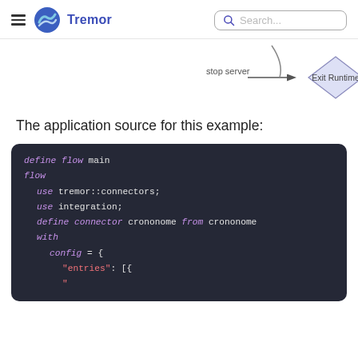Tremor — Search...
[Figure (flowchart): Partial flowchart showing 'stop server' arrow pointing to 'Exit Runtime' diamond shape]
The application source for this example:
define flow main
flow
  use tremor::connectors;
  use integration;
  define connector crononome from crononome
  with
    config = {
      "entries": [{